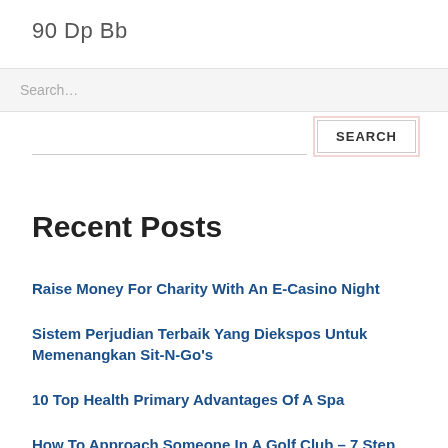90 Dp Bb
Search
SEARCH
Recent Posts
Raise Money For Charity With An E-Casino Night
Sistem Perjudian Terbaik Yang Diekspos Untuk Memenangkan Sit-N-Go's
10 Top Health Primary Advantages Of A Spa
How To Approach Someone In A Golf Club – 7 Step Plan